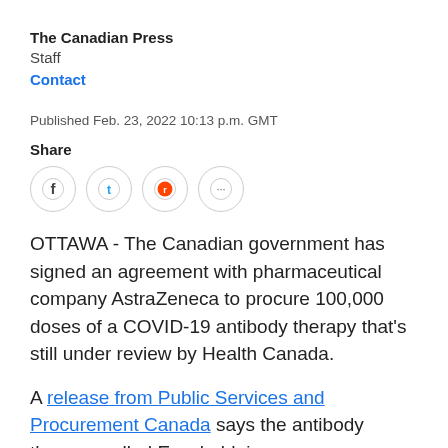The Canadian Press
Staff
Contact
Published Feb. 23, 2022 10:13 p.m. GMT
Share
[Figure (infographic): Social sharing icons: Facebook, Twitter, Reddit, and More (ellipsis) in circular outlines]
OTTAWA - The Canadian government has signed an agreement with pharmaceutical company AstraZeneca to procure 100,000 doses of a COVID-19 antibody therapy that's still under review by Health Canada.
A release from Public Services and Procurement Canada says the antibody therapy, called Evusheld, is a pre-exposure prevention for COVID-19...